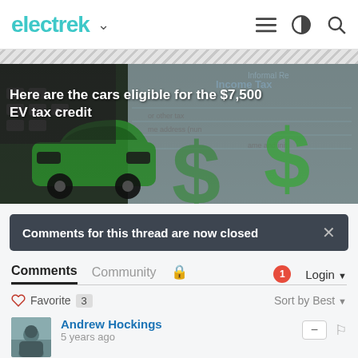electrek
[Figure (photo): Hero image with green EV car icon and dollar signs on tax form background. Title text overlay: Here are the cars eligible for the $7,500 EV tax credit]
Comments for this thread are now closed
Comments   Community   🔒   1   Login
♡ Favorite  3   Sort by Best
Andrew Hockings
5 years ago
"we are making electric plug-ins until hydrogen fuel cell vehicles take hold".
Oh deary deary me!